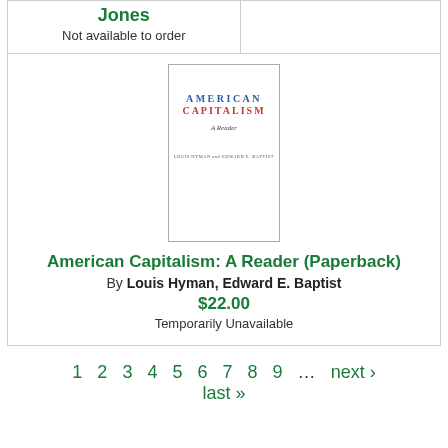Jones
Not available to order
[Figure (illustration): Book cover for American Capitalism: A Reader, with 'AMERICAN' in blue and 'CAPITALISM' in red, subtitle 'A Reader' in italic, authors at bottom]
American Capitalism: A Reader (Paperback)
By Louis Hyman, Edward E. Baptist
$22.00
Temporarily Unavailable
1  2  3  4  5  6  7  8  9  ...  next ›
last »